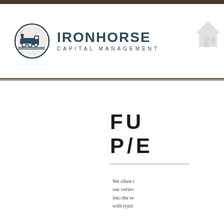[Figure (logo): IronHorse Capital Management logo with steam locomotive in circular emblem and company name in bold uppercase letters]
FUNDAMENTALS:
P/E RATIOS
We often think about our version of P/E — digging into the reality compared with typic…
While we've seen fool's gold… whether not… P/E ratios…